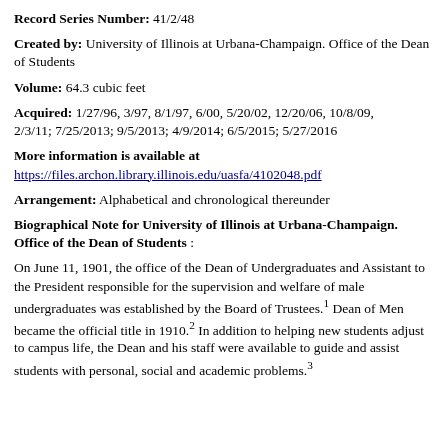Record Series Number: 41/2/48
Created by: University of Illinois at Urbana-Champaign. Office of the Dean of Students
Volume: 64.3 cubic feet
Acquired: 1/27/96, 3/97, 8/1/97, 6/00, 5/20/02, 12/20/06, 10/8/09, 2/3/11; 7/25/2013; 9/5/2013; 4/9/2014; 6/5/2015; 5/27/2016
More information is available at https://files.archon.library.illinois.edu/uasfa/4102048.pdf
Arrangement: Alphabetical and chronological thereunder
Biographical Note for University of Illinois at Urbana-Champaign. Office of the Dean of Students :
On June 11, 1901, the office of the Dean of Undergraduates and Assistant to the President responsible for the supervision and welfare of male undergraduates was established by the Board of Trustees.1 Dean of Men became the official title in 1910.2 In addition to helping new students adjust to campus life, the Dean and his staff were available to guide and assist students with personal, social and academic problems.3